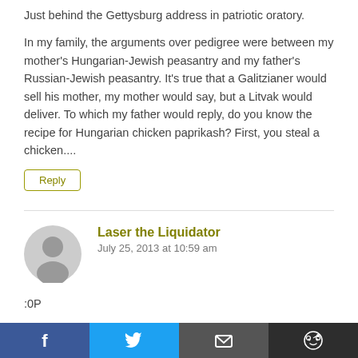Just behind the Gettysburg address in patriotic oratory.
In my family, the arguments over pedigree were between my mother's Hungarian-Jewish peasantry and my father's Russian-Jewish peasantry. It's true that a Galitzianer would sell his mother, my mother would say, but a Litvak would deliver. To which my father would reply, do you know the recipe for Hungarian chicken paprikash? First, you steal a chicken....
Reply
[Figure (photo): Default user avatar - grey silhouette of a person on light grey background]
Laser the Liquidator
July 25, 2013 at 10:59 am
:0P
Facebook | Twitter | Email | Reddit share buttons